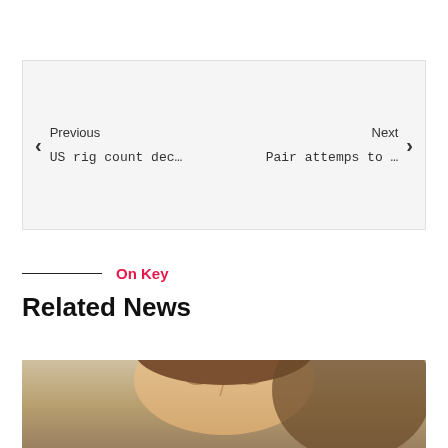Previous   US rig count dec…   Next   Pair attemps to …
On Key
Related News
[Figure (photo): Close-up photo of a person's face, partially visible at the bottom of the page]